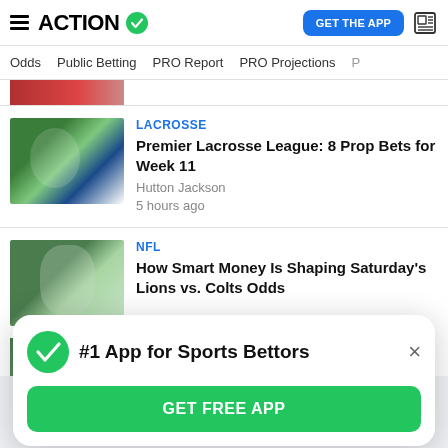ACTION (logo with checkmark) | GET THE APP
Odds  Public Betting  PRO Report  PRO Projections
LACROSSE
Premier Lacrosse League: 8 Prop Bets for Week 11
Hutton Jackson
5 hours ago
NFL
How Smart Money Is Shaping Saturday's Lions vs. Colts Odds
#1 App for Sports Bettors
GET FREE APP